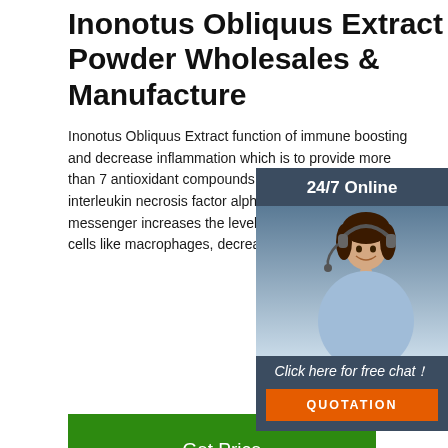Inonotus Obliquus Extract Powder Wholesales & Manufacture
Inonotus Obliquus Extract function of immune boosting and decrease inflammation which is to provide more than 7 antioxidant compounds, stimulated the interleukin necrosis factor alpha and etc chemical. messenger increases the levels of infection -fighting cells like macrophages, decrease the levels of.
[Figure (other): Green 'Get Price' button]
[Figure (other): Chat widget overlay: '24/7 Online' header, photo of female agent with headset, 'Click here for free chat!' text, and orange 'QUOTATION' button]
[Figure (photo): Product photo on dark background showing a white label card from Inner Mongolia XinHong Biotech Company Limited with Chinese text and product details, and orange TOP logo badge at bottom right]